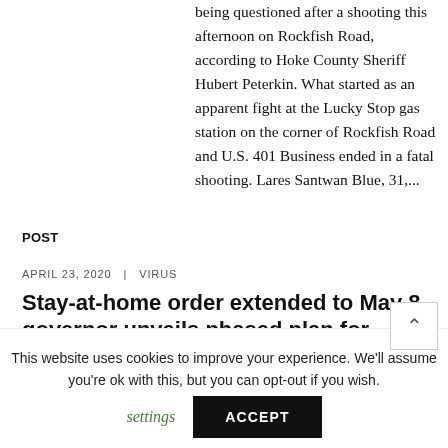being questioned after a shooting this afternoon on Rockfish Road, according to Hoke County Sheriff Hubert Peterkin. What started as an apparent fight at the Lucky Stop gas station on the corner of Rockfish Road and U.S. 401 Business ended in a fatal shooting. Lares Santwan Blue, 31,...
POST
APRIL 23, 2020 | VIRUS
Stay-at-home order extended to May 8, governor unveils phased plan for reopening N.C.
This website uses cookies to improve your experience. We'll assume you're ok with this, but you can opt-out if you wish. Cookie settings ACCEPT